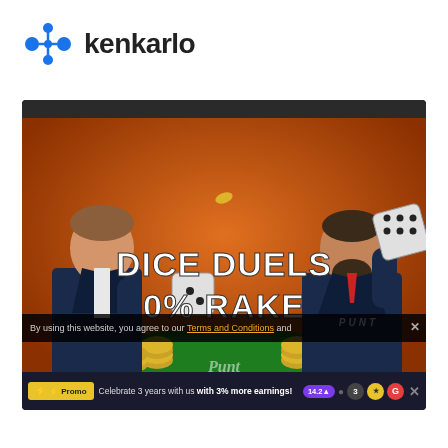[Figure (logo): Kenkarlo logo: blue abstract icon with dots and connecting lines, followed by bold text 'kenkarlo' in dark color]
[Figure (screenshot): Screenshot of Punt casino website showing 'DICE DUELS 0% RAKE' promotional banner with two animated 3D characters in suits at a green casino table with dice and gold coins, on an orange background. A cookie consent bar at bottom reads 'By using this website, you agree to our Terms and Conditions and'. A promotional bar shows 'Promo | Celebrate 3 years with us with 3% more earnings!']
By using this website, you agree to our Terms and Conditions and
Promo | Celebrate 3 years with us with 3% more earnings!